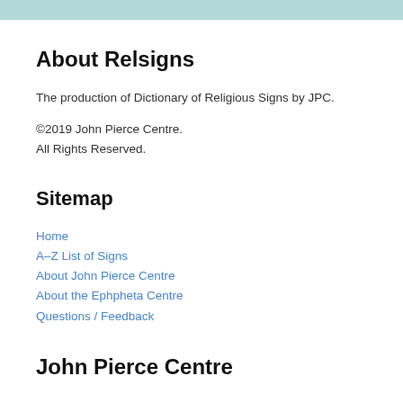About Relsigns
The production of Dictionary of Religious Signs by JPC.
©2019 John Pierce Centre.
All Rights Reserved.
Sitemap
Home
A–Z List of Signs
About John Pierce Centre
About the Ephpheta Centre
Questions / Feedback
John Pierce Centre